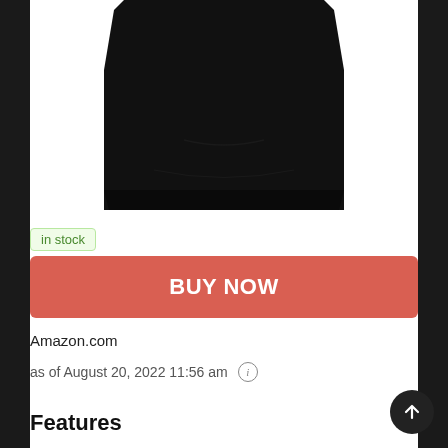[Figure (photo): Bottom portion of a black t-shirt or garment against white background]
in stock
BUY NOW
Amazon.com
as of August 20, 2022 11:56 am
Features